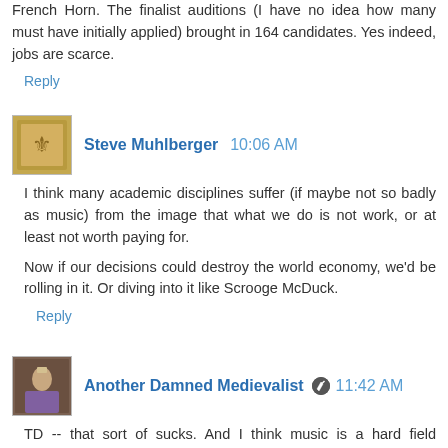French Horn. The finalist auditions (I have no idea how many must have initially applied) brought in 164 candidates. Yes indeed, jobs are scarce.
Reply
Steve Muhlberger 10:06 AM
I think many academic disciplines suffer (if maybe not so badly as music) from the image that what we do is not work, or at least not worth paying for.
Now if our decisions could destroy the world economy, we'd be rolling in it. Or diving into it like Scrooge McDuck.
Reply
Another Damned Medievalist 11:42 AM
TD -- that sort of sucks. And I think music is a hard field because it is treated as professional training (and I think professional schools are different to grad schools), but then so many people in postgraduate music are doing it to